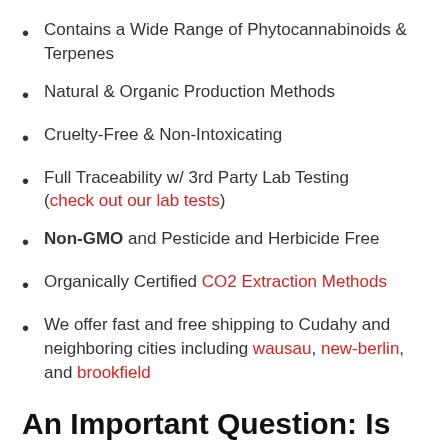Contains a Wide Range of Phytocannabinoids & Terpenes
Natural & Organic Production Methods
Cruelty-Free & Non-Intoxicating
Full Traceability w/ 3rd Party Lab Testing (check out our lab tests)
Non-GMO and Pesticide and Herbicide Free
Organically Certified CO2 Extraction Methods
We offer fast and free shipping to Cudahy and neighboring cities including wausau, new-berlin, and brookfield
An Important Question: Is